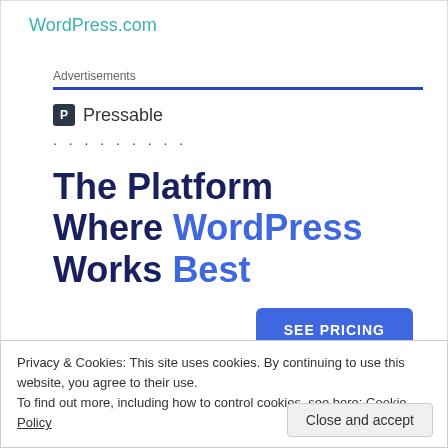WordPress.com
Advertisements
[Figure (logo): Pressable logo icon with letter P in a dark square, followed by text 'Pressable' and a row of dots]
The Platform Where WordPress Works Best
[Figure (other): SEE PRICING button (blue rounded rectangle)]
Privacy & Cookies: This site uses cookies. By continuing to use this website, you agree to their use.
To find out more, including how to control cookies, see here: Cookie Policy
Close and accept